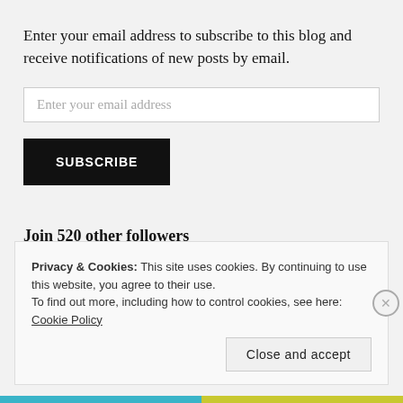Enter your email address to subscribe to this blog and receive notifications of new posts by email.
Enter your email address
SUBSCRIBE
Join 520 other followers
Privacy & Cookies: This site uses cookies. By continuing to use this website, you agree to their use.
To find out more, including how to control cookies, see here: Cookie Policy
Close and accept